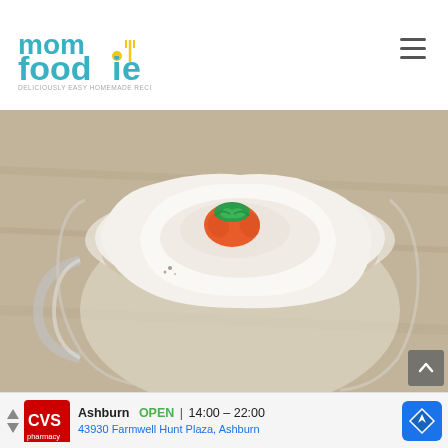[Figure (logo): Mom Foodie logo — colorful text logo with 'mom foodie' in blue/yellow/green and tagline 'deliciously easy homemade recipes']
[Figure (photo): Overhead close-up photo of a glass mug with a pumpkin spice latte topped with swirled whipped cream and a small orange pumpkin candy decoration on top]
[Figure (infographic): Ad banner for CVS Pharmacy in Ashburn showing OPEN 14:00–22:00 and address 43930 Farmwell Hunt Plaza, Ashburn with navigation icon]